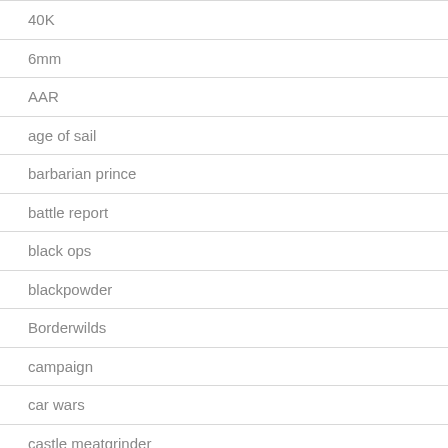40K
6mm
AAR
age of sail
barbarian prince
battle report
black ops
blackpowder
Borderwilds
campaign
car wars
castle meatgrinder